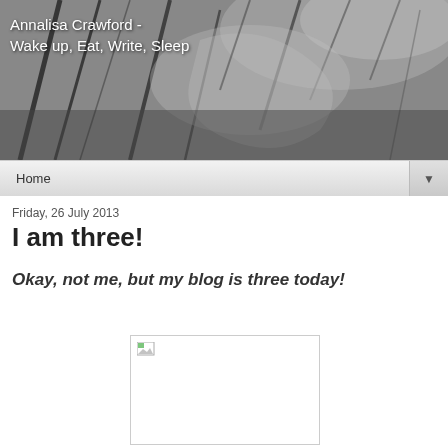[Figure (photo): Black and white blog header image showing abstract close-up of broken glass or plant stems, with site title overlay]
Annalisa Crawford - Wake up, Eat, Write, Sleep
Home
Friday, 26 July 2013
I am three!
Okay, not me, but my blog is three today!
[Figure (photo): Broken/missing image placeholder with small image icon in top-left corner]